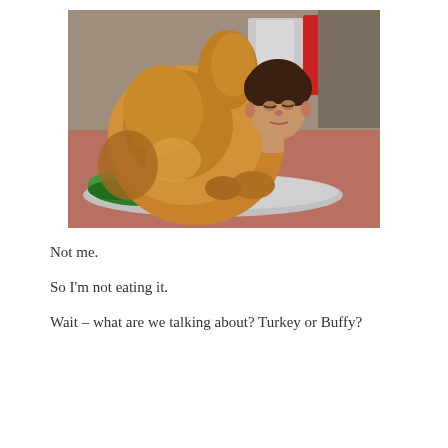[Figure (photo): A humorous composite photo/still from Seinfeld TV show showing Kramer's head appearing to emerge from a large roasted turkey on a serving platter garnished with green herbs, set on a reddish-brown table with kitchen appliances visible in the background.]
Not me.
So I'm not eating it.
Wait – what are we talking about? Turkey or Buffy?